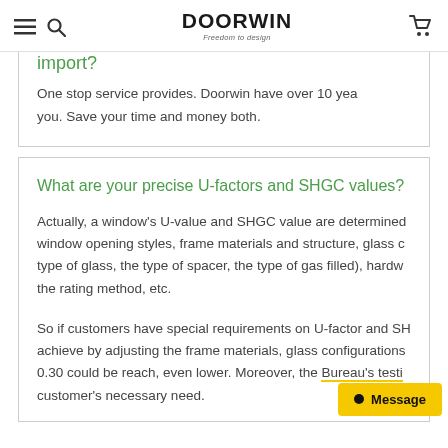DOORWIN — Navigation header with hamburger menu, search, logo, and cart icons
import?
One stop service provides. Doorwin have over 10 years experience to help you. Save your time and money both.
What are your precise U-factors and SHGC values?
Actually, a window's U-value and SHGC value are determined by window opening styles, frame materials and structure, glass configurations (type of glass, the type of spacer, the type of gas filled), hardware, and the rating method, etc.
So if customers have special requirements on U-factor and SHGC, we can achieve by adjusting the frame materials, glass configurations. U-factor of 0.30 could be reach, even lower. Moreover, the Bureau's testi... customer's necessary need.